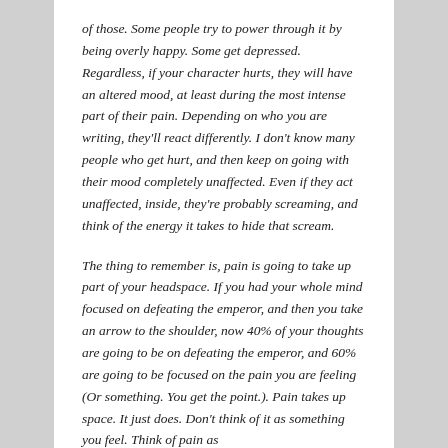of those. Some people try to power through it by being overly happy. Some get depressed. Regardless, if your character hurts, they will have an altered mood, at least during the most intense part of their pain. Depending on who you are writing, they'll react differently. I don't know many people who get hurt, and then keep on going with their mood completely unaffected. Even if they act unaffected, inside, they're probably screaming, and think of the energy it takes to hide that scream.
The thing to remember is, pain is going to take up part of your headspace. If you had your whole mind focused on defeating the emperor, and then you take an arrow to the shoulder, now 40% of your thoughts are going to be on defeating the emperor, and 60% are going to be focused on the pain you are feeling (Or something. You get the point.). Pain takes up space. It just does. Don't think of it as something you feel. Think of pain as